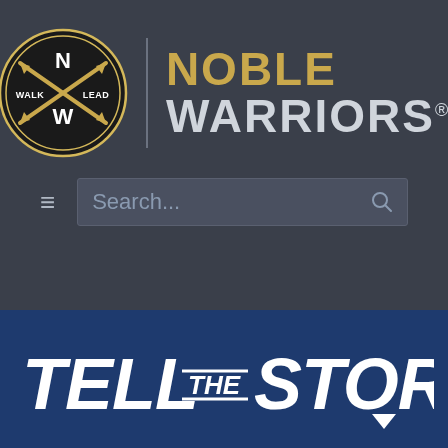[Figure (logo): Noble Warriors logo: circular black badge with crossed arrows and NW monogram, with WALK and LEAD text, next to text reading NOBLE WARRIORS with registered trademark symbol]
[Figure (screenshot): Navigation bar with hamburger menu icon and search box reading Search...]
[Figure (logo): Tell The Story logo in white bold condensed text on dark blue background]